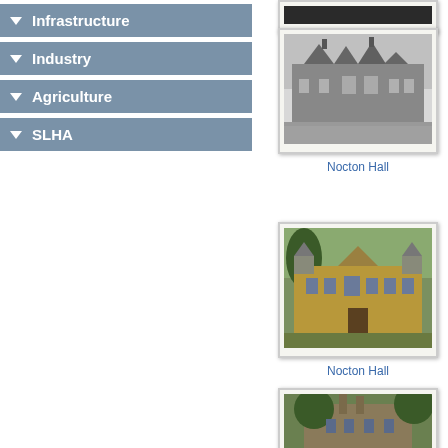Infrastructure
Industry
Agriculture
SLHA
[Figure (photo): Dark/black image at top right, partially cropped]
[Figure (photo): Black and white photograph of Nocton Hall, a Victorian Gothic style building]
Nocton Hall
[Figure (photo): Color photograph of Nocton Hall, a stone mansion with turrets]
Nocton Hall
[Figure (photo): Partially visible photograph of a building, bottom of page]